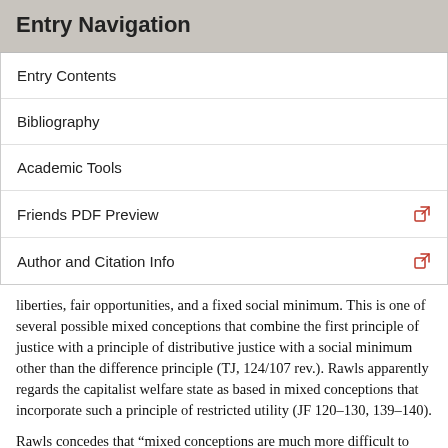Entry Navigation
Entry Contents
Bibliography
Academic Tools
Friends PDF Preview
Author and Citation Info
liberties, fair opportunities, and a fixed social minimum. This is one of several possible mixed conceptions that combine the first principle of justice with a principle of distributive justice with a social minimum other than the difference principle (TJ, 124/107 rev.). Rawls apparently regards the capitalist welfare state as based in mixed conceptions that incorporate such a principle of restricted utility (JF 120–130, 139–140).
Rawls concedes that “mixed conceptions are much more difficult to argue against than the principle of utility,”